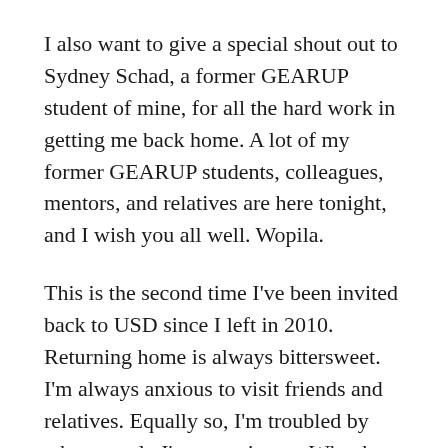I also want to give a special shout out to Sydney Schad, a former GEARUP student of mine, for all the hard work in getting me back home. A lot of my former GEARUP students, colleagues, mentors, and relatives are here tonight, and I wish you all well. Wopila.
This is the second time I've been invited back to USD since I left in 2010. Returning home is always bittersweet. I'm always anxious to visit friends and relatives. Equally so, I'm troubled by what exactly I'm returning to. What has changed? Who has changed? Did I change? What is changing? Are we going forwards or backwards?
The last couple of months appear like we are